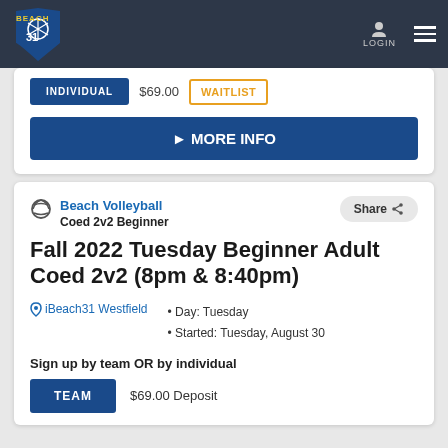Beach31 - LOGIN - menu
INDIVIDUAL  $69.00  WAITLIST
▶ MORE INFO
Beach Volleyball
Coed 2v2 Beginner
Share
Fall 2022 Tuesday Beginner Adult Coed 2v2 (8pm & 8:40pm)
iBeach31 Westfield
Day: Tuesday
Started: Tuesday, August 30
Sign up by team OR by individual
TEAM  $69.00 Deposit